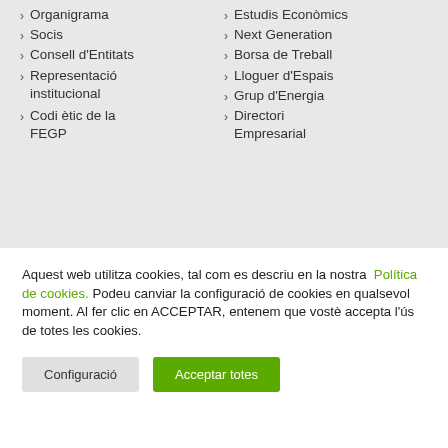Organigrama
Socis
Consell d'Entitats
Representació institucional
Codi ètic de la FEGP
Assessorament
Estudis Econòmics
Next Generation
Borsa de Treball
Lloguer d'Espais
Grup d'Energia
Directori Empresarial
Aquest web utilitza cookies, tal com es descriu en la nostra Política de cookies. Podeu canviar la configuració de cookies en qualsevol moment. Al fer clic en ACCEPTAR, entenem que vostè accepta l'ús de totes les cookies.
Configuració | Acceptar totes